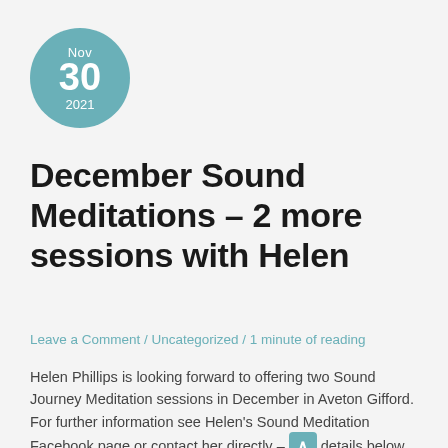[Figure (other): Circular teal date badge showing Nov 30 2021]
December Sound Meditations – 2 more sessions with Helen
Leave a Comment / Uncategorized / 1 minute of reading
Helen Phillips is looking forward to offering two Sound Journey Meditation sessions in December in Aveton Gifford. For further information see Helen's Sound Meditation Facebook page or contact her directly – details below